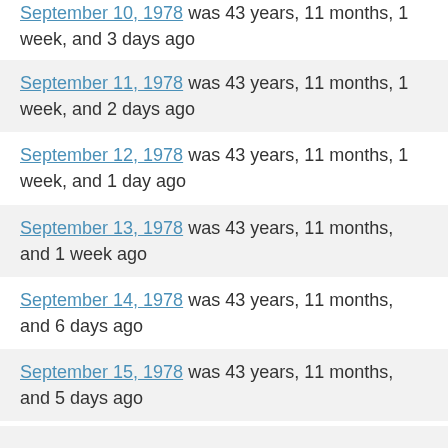September 10, 1978 was 43 years, 11 months, 1 week, and 3 days ago
September 11, 1978 was 43 years, 11 months, 1 week, and 2 days ago
September 12, 1978 was 43 years, 11 months, 1 week, and 1 day ago
September 13, 1978 was 43 years, 11 months, and 1 week ago
September 14, 1978 was 43 years, 11 months, and 6 days ago
September 15, 1978 was 43 years, 11 months, and 5 days ago
September 16, 1978 was 43 years, 11 months, and 4 days ago